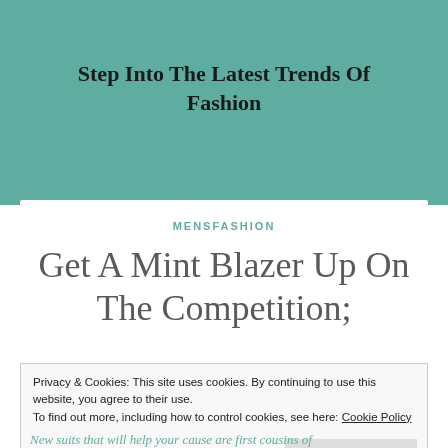Step Into The Latest Trends Of Fashion
MENSFASHION
Get A Mint Blazer Up On The Competition;
Privacy & Cookies: This site uses cookies. By continuing to use this website, you agree to their use. To find out more, including how to control cookies, see here: Cookie Policy
Close and accept
New suits that will help your cause are first cousins of